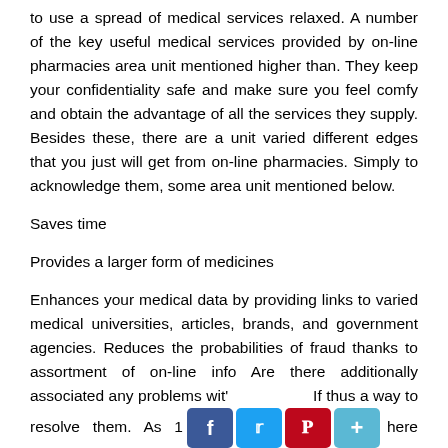to use a spread of medical services relaxed. A number of the key useful medical services provided by on-line pharmacies area unit mentioned higher than. They keep your confidentiality safe and make sure you feel comfy and obtain the advantage of all the services they supply. Besides these, there are a unit varied different edges that you just will get from on-line pharmacies. Simply to acknowledge them, some area unit mentioned below.
Saves time
Provides a larger form of medicines
Enhances your medical data by providing links to varied medical universities, articles, brands, and government agencies. Reduces the probabilities of fraud thanks to assortment of on-line info Are there additionally associated any problems wit' ... If thus a way to resolve them. As t ... here are connected